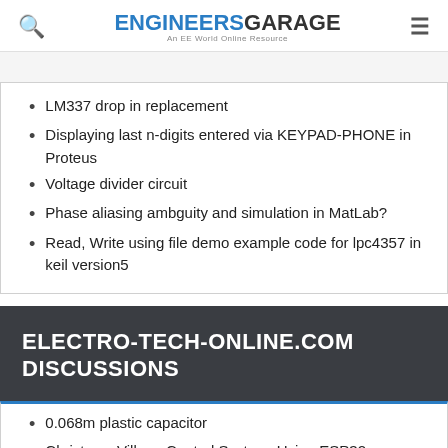ENGINEERS GARAGE — An EE World Online Resource
LM337 drop in replacement
Displaying last n-digits entered via KEYPAD-PHONE in Proteus
Voltage divider circuit
Phase aliasing ambguity and simulation in MatLab?
Read, Write using file demo example code for lpc4357 in keil version5
ELECTRO-TECH-ONLINE.COM DISCUSSIONS
0.068m plastic capacitor
Christmas Village Control System, Using ESP32